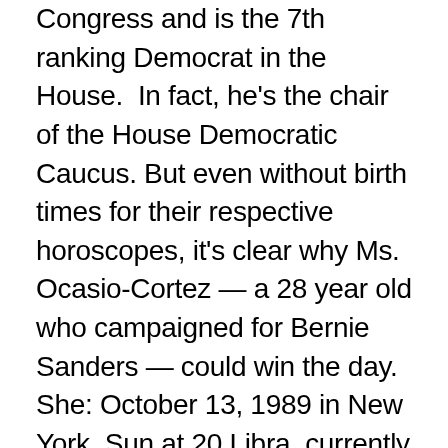Congress and is the 7th ranking Democrat in the House. In fact, he's the chair of the House Democratic Caucus. But even without birth times for their respective horoscopes, it's clear why Ms. Ocasio-Cortez — a 28 year old who campaigned for Bernie Sanders — could win the day. She: October 13, 1989 in New York. Sun at 20 Libra, currently being supercharged by transiting Pluto. Strong potential for empowerment! Possible Grand Cross among an Aries Moon (or Pisces, we need a birth time), Mars, Jupiter, Saturn, Uranus, Neptune and Mercury. This is a woman who is destined to be a driving force. And what she has to say is destined to be noticed, with her Mercury in Libra at the Aries Point, square to rebel Uranus. Plus she is having her first Saturn